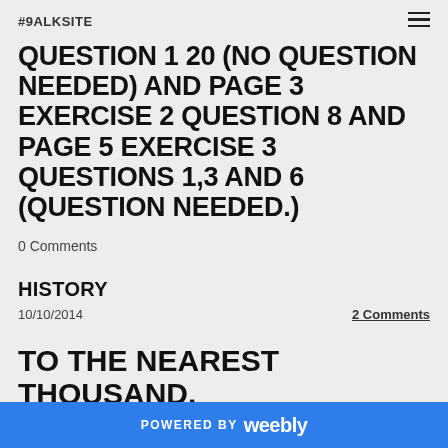#9ALKSITE
QUESTION 1 20 (NO QUESTION NEEDED) AND PAGE 3 EXERCISE 2 QUESTION 8 AND PAGE 5 EXERCISE 3 QUESTIONS 1,3 AND 6 (QUESTION NEEDED.)
0 Comments
HISTORY
10/10/2014
2 Comments
TO THE NEAREST THOUSAND.
POWERED BY weebly